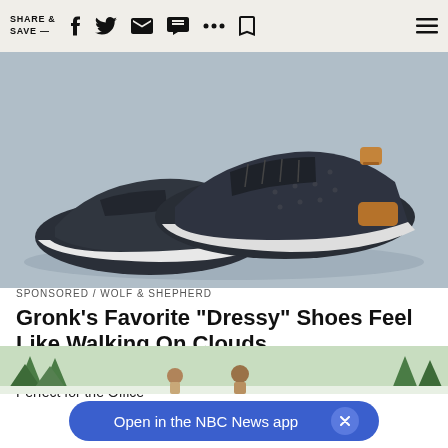SHARE & SAVE —
[Figure (photo): Two dark navy/charcoal knit sneakers with white soles and tan leather heel accents, displayed on a light blue/grey surface.]
SPONSORED / WOLF & SHEPHERD
Gronk's Favorite "Dressy" Shoes Feel Like Walking On Clouds
Guys, Say Hello to Your New Favorite Casual Dress Shoe—Perfect for the Office
[Figure (photo): Bottom portion of a winter outdoor scene with snow-covered pine trees and people, partially visible.]
Open in the NBC News app